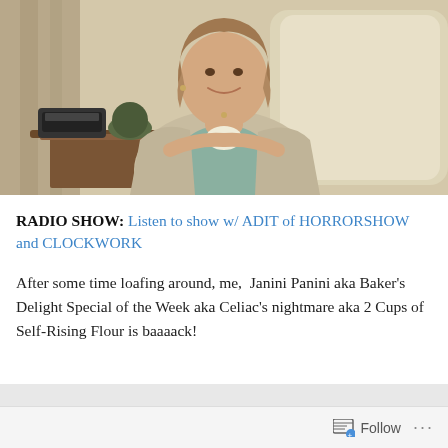[Figure (photo): A woman with a short bob haircut smiling, seated on a cream-colored sofa, knitting. She is wearing a beige blazer over a light blue top. In the background there is a dark wood side table with a telephone and a decorative vase.]
RADIO SHOW: Listen to show w/ ADIT of HORRORSHOW and CLOCKWORK
After some time loafing around, me,  Janini Panini aka Baker's Delight Special of the Week aka Celiac's nightmare aka 2 Cups of Self-Rising Flour is baaaack!
Follow ...